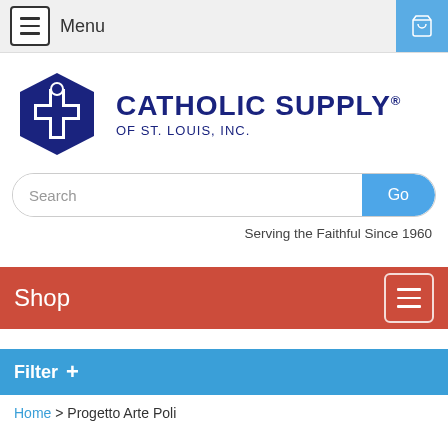Menu
[Figure (logo): Catholic Supply of St. Louis, Inc. logo with hexagon icon and text]
Search
Serving the Faithful Since 1960
Shop
Filter +
Home > Progetto Arte Poli